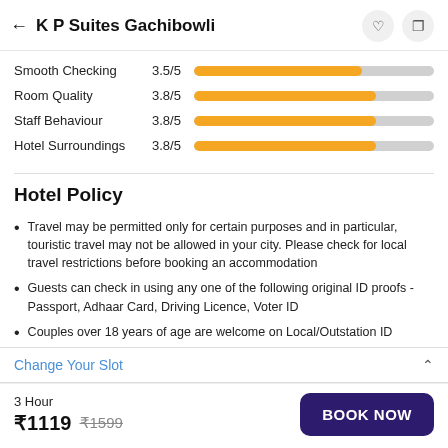← K P Suites Gachibowli
[Figure (bar-chart): Ratings]
Hotel Policy
Travel may be permitted only for certain purposes and in particular, touristic travel may not be allowed in your city. Please check for local travel restrictions before booking an accommodation
Guests can check in using any one of the following original ID proofs - Passport, Adhaar Card, Driving Licence, Voter ID
Couples over 18 years of age are welcome on Local/Outstation ID
Change Your Slot
3 Hour
₹1119  ₹1599
BOOK NOW